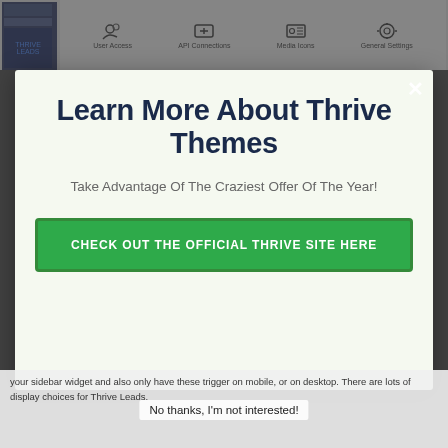[Figure (screenshot): Background of a website/settings page with icons (User Access, API Connections, Media Icons, General Settings) partially visible behind a modal overlay]
Learn More About Thrive Themes
Take Advantage Of The Craziest Offer Of The Year!
CHECK OUT THE OFFICIAL THRIVE SITE HERE
No thanks, I'm not interested!
your sidebar widget and also only have these trigger on mobile, or on desktop. There are lots of display choices for Thrive Leads.